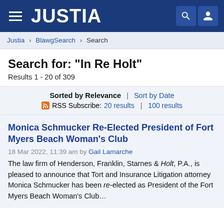JUSTIA
Justia > BlawgSearch > Search
Search for: "In Re Holt"
Results 1 - 20 of 309
Sorted by Relevance | Sort by Date
RSS Subscribe: 20 results | 100 results
Monica Schmucker Re-Elected President of Fort Myers Beach Woman's Club
18 Mar 2022, 11:39 am by Gail Lamarche
The law firm of Henderson, Franklin, Starnes & Holt, P.A., is pleased to announce that Tort and Insurance Litigation attorney Monica Schmucker has been re-elected as President of the Fort Myers Beach Woman's Club...